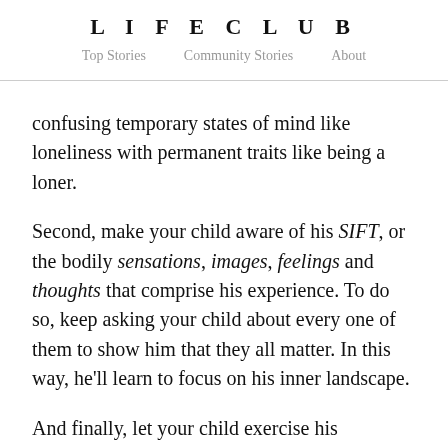LIFECLUB
Top Stories   Community Stories   About
confusing temporary states of mind like loneliness with permanent traits like being a loner.
Second, make your child aware of his SIFT, or the bodily sensations, images, feelings and thoughts that comprise his experience. To do so, keep asking your child about every one of them to show him that they all matter. In this way, he’ll learn to focus on his inner landscape.
And finally, let your child exercise his mindsight by teaching him to calm himself down and guide his attention at will. A good way for him to practice this is